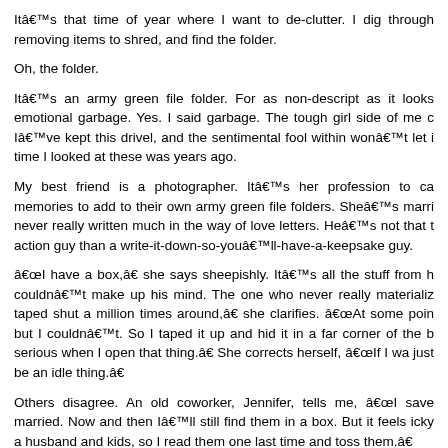It’s that time of year where I want to de-clutter. I dig through removing items to shred, and find the folder.
Oh, the folder.
It’s an army green file folder. For as non-descript as it looks emotional garbage. Yes. I said garbage. The tough girl side of me c I’ve kept this drivel, and the sentimental fool within won’t let i time I looked at these was years ago.
My best friend is a photographer. It’s her profession to ca memories to add to their own army green file folders. She’s marri never really written much in the way of love letters. He’s not that t action guy than a write-it-down-so-you’ll-have-a-keepsake guy.
“I have a box,” she says sheepishly. It’s all the stuff from h couldn’t make up his mind. The one who never really materializ taped shut a million times around,” she clarifies. “At some poin but I couldn’t. So I taped it up and hid it in a far corner of the b serious when I open that thing.” She corrects herself, “If I wa just be an idle thing.”
Others disagree. An old coworker, Jennifer, tells me, “I save married. Now and then I’ll still find them in a box. But it feels icky a husband and kids, so I read them one last time and toss them.”